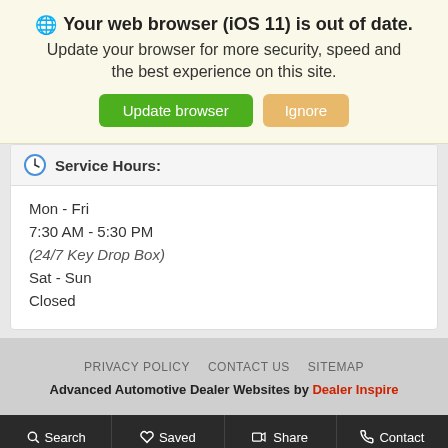[Figure (screenshot): Browser update warning banner with globe icon, bold text 'Your web browser (iOS 11) is out of date.', subtitle text, and two buttons: 'Update browser' (green) and 'Ignore' (tan)]
Service Hours:
Mon - Fri
7:30 AM - 5:30 PM
(24/7 Key Drop Box)
Sat - Sun
Closed
PRIVACY POLICY   CONTACT US   SITEMAP
Advanced Automotive Dealer Websites by Dealer Inspire
Search   Saved   Share   Contact